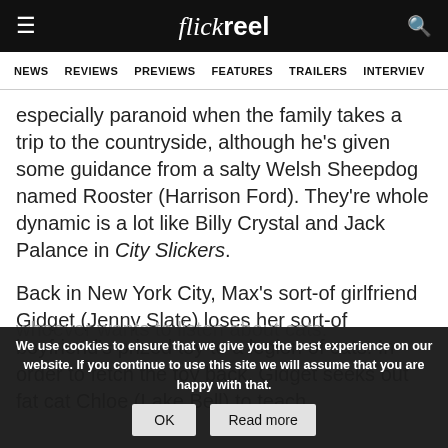flickreel
NEWS | REVIEWS | PREVIEWS | FEATURES | TRAILERS | INTERVIEWS
especially paranoid when the family takes a trip to the countryside, although he's given some guidance from a salty Welsh Sheepdog named Rooster (Harrison Ford). They're whole dynamic is a lot like Billy Crystal and Jack Palance in City Slickers.
Back in New York City, Max's sort-of girlfriend Gidget (Jenny Slate) loses her sort-of boyfriend's prized toy to a legion of cats. In order to fetch the toy back, Gidget seeks out fat cat Chloe (Lake Bell) to teach whoever wants to listen about cats.
We use cookies to ensure that we give you the best experience on our website. If you continue to use this site we will assume that you are happy with that.